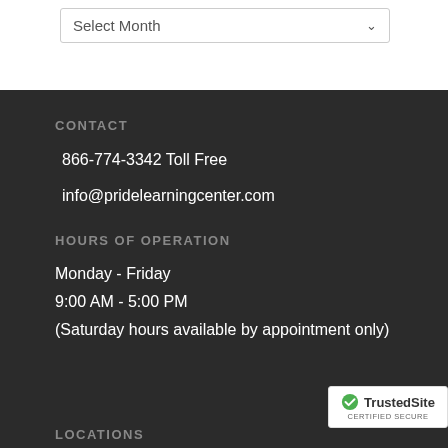Select Month
CONTACT
866-774-3342 Toll Free
info@pridelearningcenter.com
HOURS OF OPERATION
Monday - Friday
9:00 AM - 5:00 PM
(Saturday hours available by appointment only)
[Figure (logo): TrustedSite Certified Secure badge with green checkmark]
LOCATIONS